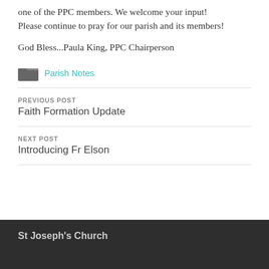one of the PPC members. We welcome your input! Please continue to pray for our parish and its members!
God Bless...Paula King, PPC Chairperson
Parish Notes
PREVIOUS POST
Faith Formation Update
NEXT POST
Introducing Fr Elson
St Joseph's Church